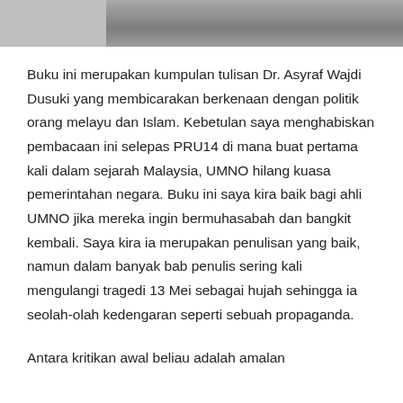[Figure (photo): Partial photo strip at the top of the page showing people, cropped]
Buku ini merupakan kumpulan tulisan Dr. Asyraf Wajdi Dusuki yang membicarakan berkenaan dengan politik orang melayu dan Islam. Kebetulan saya menghabiskan pembacaan ini selepas PRU14 di mana buat pertama kali dalam sejarah Malaysia, UMNO hilang kuasa pemerintahan negara. Buku ini saya kira baik bagi ahli UMNO jika mereka ingin bermuhasabah dan bangkit kembali. Saya kira ia merupakan penulisan yang baik, namun dalam banyak bab penulis sering kali mengulangi tragedi 13 Mei sebagai hujah sehingga ia seolah-olah kedengaran seperti sebuah propaganda.
Antara kritikan awal beliau adalah amalan